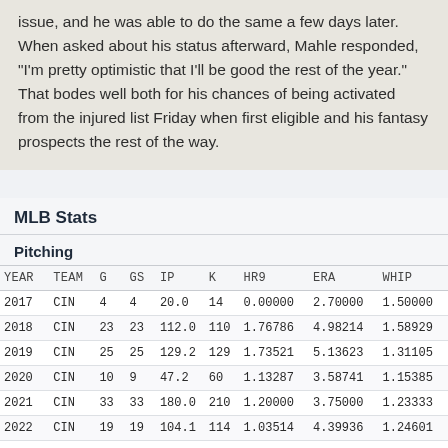issue, and he was able to do the same a few days later. When asked about his status afterward, Mahle responded, "I'm pretty optimistic that I'll be good the rest of the year." That bodes well both for his chances of being activated from the injured list Friday when first eligible and his fantasy prospects the rest of the way.
MLB Stats
Pitching
| YEAR | TEAM | G | GS | IP | K | HR9 | ERA | WHIP |
| --- | --- | --- | --- | --- | --- | --- | --- | --- |
| 2017 | CIN | 4 | 4 | 20.0 | 14 | 0.00000 | 2.70000 | 1.50000 |
| 2018 | CIN | 23 | 23 | 112.0 | 110 | 1.76786 | 4.98214 | 1.58929 |
| 2019 | CIN | 25 | 25 | 129.2 | 129 | 1.73521 | 5.13623 | 1.31105 |
| 2020 | CIN | 10 | 9 | 47.2 | 60 | 1.13287 | 3.58741 | 1.15385 |
| 2021 | CIN | 33 | 33 | 180.0 | 210 | 1.20000 | 3.75000 | 1.23333 |
| 2022 | CIN | 19 | 19 | 104.1 | 114 | 1.03514 | 4.39936 | 1.24601 |